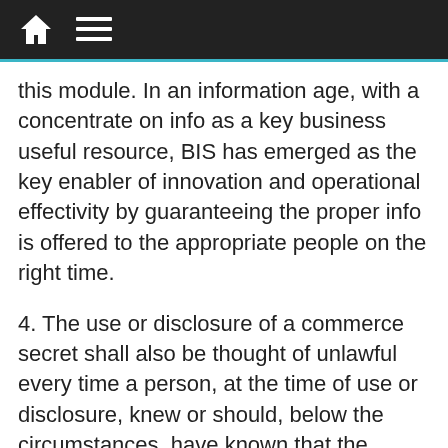Navigation bar with home and menu icons
this module. In an information age, with a concentrate on info as a key business useful resource, BIS has emerged as the key enabler of innovation and operational effectivity by guaranteeing the proper info is offered to the appropriate people on the right time.
4. The use or disclosure of a commerce secret shall also be thought of unlawful every time a person, at the time of use or disclosure, knew or should, below the circumstances, have known that the commerce secret was obtained from one other one that was utilizing or disclosing the commerce secret unlawfully inside the that means of the paragraph three.anonymous,uncategorized,misc,general,othe